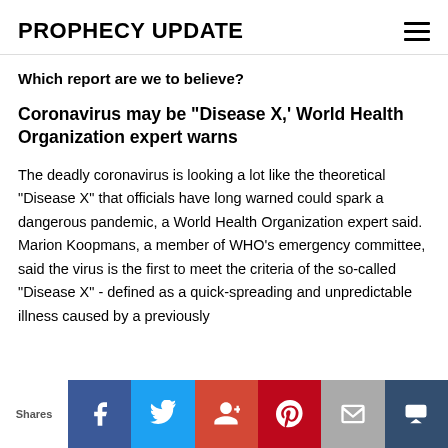PROPHECY UPDATE
Which report are we to believe?
Coronavirus may be "Disease X,' World Health Organization expert warns
The deadly coronavirus is looking a lot like the theoretical "Disease X" that officials have long warned could spark a dangerous pandemic, a World Health Organization expert said. Marion Koopmans, a member of WHO's emergency committee, said the virus is the first to meet the criteria of the so-called "Disease X" - defined as a quick-spreading and unpredictable illness caused by a previously
Shares | Facebook | Twitter | Google+ | Pinterest | Email | Crown